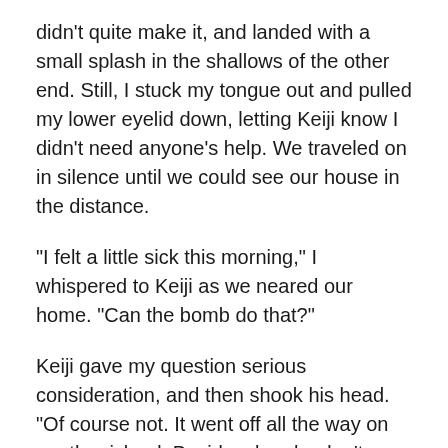didn't quite make it, and landed with a small splash in the shallows of the other end. Still, I stuck my tongue out and pulled my lower eyelid down, letting Keiji know I didn't need anyone's help. We traveled on in silence until we could see our house in the distance.
“I felt a little sick this morning,” I whispered to Keiji as we neared our home. “Can the bomb do that?”
Keiji gave my question serious consideration, and then shook his head. “Of course not. It went off all the way on another island. Besides, bombs don’t make people sick. They just blow things up.”
“Some bombs might make people sick,” I said defensively. “You don’t know for sure.”
“I know more than you do about it.”